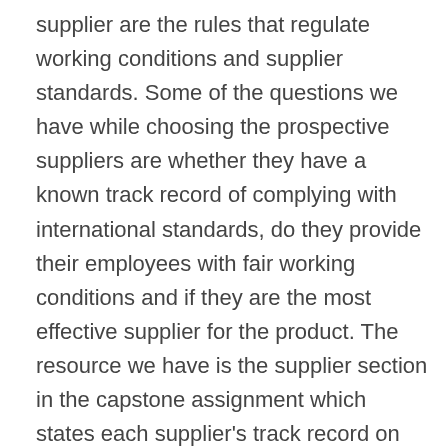supplier are the rules that regulate working conditions and supplier standards. Some of the questions we have while choosing the prospective suppliers are whether they have a known track record of complying with international standards, do they provide their employees with fair working conditions and if they are the most effective supplier for the product. The resource we have is the supplier section in the capstone assignment which states each supplier's track record on compliance with rules regarding working conditions and international supplier standards. Alpha Supply Company, Beta Manufacturers, Gamma Creation and Delta Suppliers are the four suppliers we can choose from. Our decision with regard to the supplier we choose will affect Abbot because the profitability of this